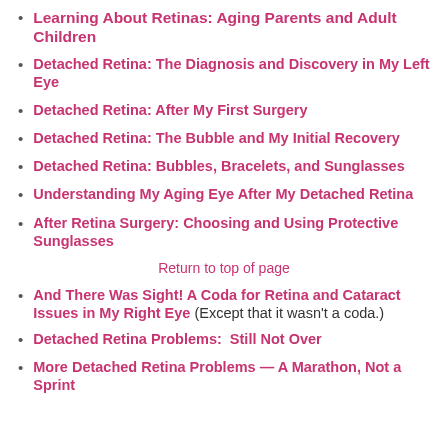Learning About Retinas: Aging Parents and Adult Children
Detached Retina: The Diagnosis and Discovery in My Left Eye
Detached Retina: After My First Surgery
Detached Retina: The Bubble and My Initial Recovery
Detached Retina: Bubbles, Bracelets, and Sunglasses
Understanding My Aging Eye After My Detached Retina
After Retina Surgery: Choosing and Using Protective Sunglasses
Return to top of page
And There Was Sight! A Coda for Retina and Cataract Issues in My Right Eye (Except that it wasn't a coda.)
Detached Retina Problems:  Still Not Over
More Detached Retina Problems — A Marathon, Not a Sprint